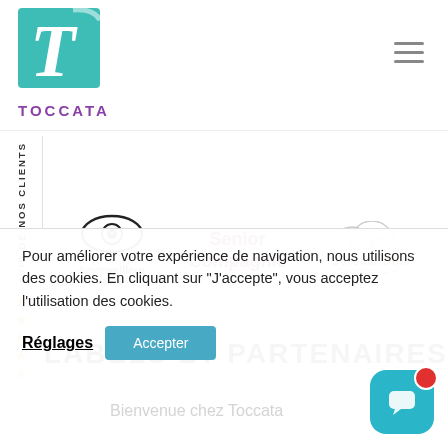[Figure (logo): Toccata logo - teal square with stylized T letter in white, brand name TOCCATA in purple below]
[Figure (logo): Hamburger menu icon (three horizontal lines)]
[Figure (logo): Side banner with AVIS DE NOS CLIENTS text and 4.5 orange stars rating, plus Verifda badge at bottom]
[Figure (logo): Partner logos: &monveilleur&moi (eye logo), Senior Compagnie (bold text), Serenadom (overlapping circles logo)]
LABELS ET PARTENAIRES
Pour améliorer votre expérience de navigation, nous utilisons des cookies. En cliquant sur "J'accepte", vous acceptez l'utilisation des cookies.
Réglages
Accepter
Bienvenue chez Toccata